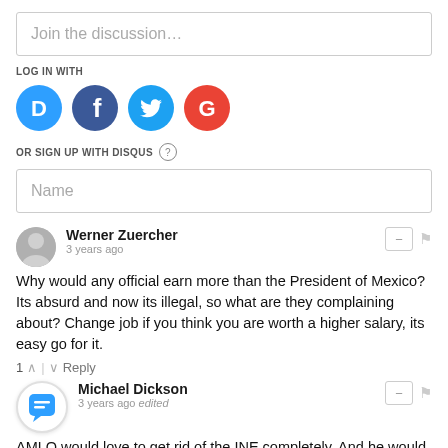Join the discussion…
LOG IN WITH
[Figure (illustration): Social login icons: Disqus (blue), Facebook (dark blue), Twitter (light blue), Google (red)]
OR SIGN UP WITH DISQUS ?
Name
Werner Zuercher
3 years ago
Why would any official earn more than the President of Mexico? Its absurd and now its illegal, so what are they complaining about? Change job if you think you are worth a higher salary, its easy go for it.
1 ∧ | ∨ Reply
Michael Dickson
3 years ago edited
AMLO would love to get rid of the INE completely. And he would